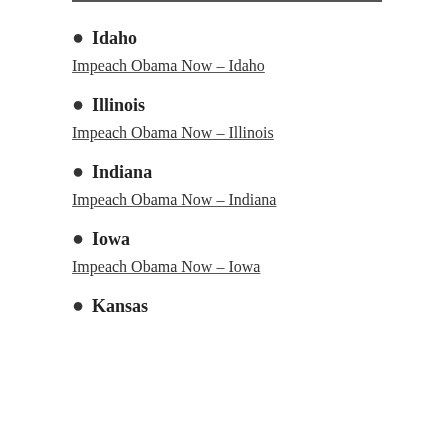Idaho
Impeach Obama Now – Idaho
Illinois
Impeach Obama Now – Illinois
Indiana
Impeach Obama Now – Indiana
Iowa
Impeach Obama Now – Iowa
Kansas